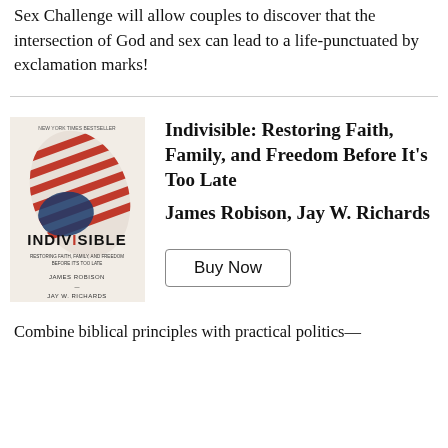Sex Challenge will allow couples to discover that the intersection of God and sex can lead to a life punctuated by exclamation marks!
[Figure (illustration): Book cover of 'Indivisible: Restoring Faith, Family, and Freedom Before It's Too Late' by James Robison and Jay W. Richards. Cover shows a stylized American flag feather/wing motif in red, white, and blue on a light background. Text reads 'NEW YORK TIMES BESTSELLER', 'INDIVISIBLE', 'RESTORING FAITH, FAMILY, AND FREEDOM BEFORE IT'S TOO LATE', 'JAMES ROBISON', 'JAY W. RICHARDS'.]
Indivisible: Restoring Faith, Family, and Freedom Before It's Too Late
James Robison, Jay W. Richards
Buy Now
Combine biblical principles with practical politics—